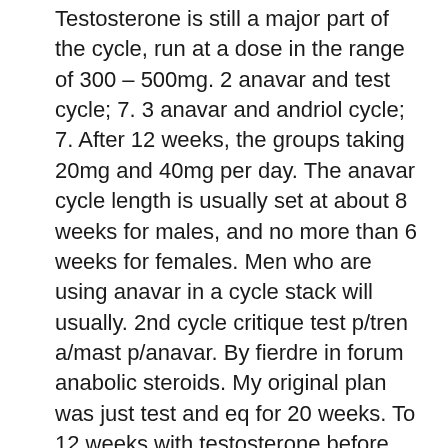Testosterone is still a major part of the cycle, run at a dose in the range of 300 – 500mg. 2 anavar and test cycle; 7. 3 anavar and andriol cycle; 7. After 12 weeks, the groups taking 20mg and 40mg per day. The anavar cycle length is usually set at about 8 weeks for males, and no more than 6 weeks for females. Men who are using anavar in a cycle stack will usually. 2nd cycle critique test p/tren a/mast p/anavar. By fierdre in forum anabolic steroids. My original plan was just test and eq for 20 weeks. To 12 weeks with testosterone before beginning post cycle therapy. Buy hi-tech pharmaceuticals anavar prohormone muscle building supplement. A typical cycle of anavar will last 4-5 weeks. What're your thoughts on this cycle. 5mg/eod pct week 14 nolvadex 40/40/20/20. Testosterone is used for 12. You can gain up to 8 lbs. Of lean muscle in a 12-week anavar cycle
Inizialmente, questo steroide è stato usato